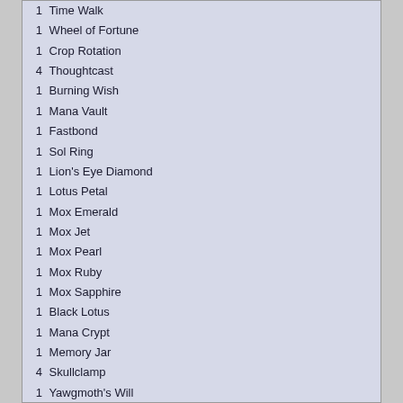1  Time Walk
1  Wheel of Fortune
1  Crop Rotation
4  Thoughtcast
1  Burning Wish
1  Mana Vault
1  Fastbond
1  Sol Ring
1  Lion's Eye Diamond
1  Lotus Petal
1  Mox Emerald
1  Mox Jet
1  Mox Pearl
1  Mox Ruby
1  Mox Sapphire
1  Black Lotus
1  Mana Crypt
1  Memory Jar
4  Skullclamp
1  Yawgmoth's Will
2  Genesis Chamber
1  Tinker
2  Ideas Unbound
// Sideboard
SB: 1  Ideas Unbound
SB: 1  Balance
SB: 1  Vindicate
SB: 1  Time Spiral
SB: 1  Tendrils of Agony
SB: 1  Mind Twist
SB: X  Meta cards